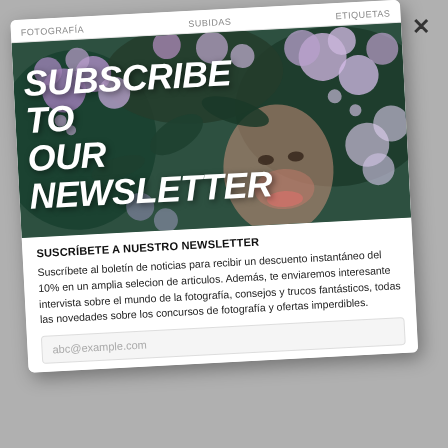FOTOGRAFÍA   SUBIDAS   ETIQUETAS
[Figure (photo): Hero image of a woman partially obscured by purple/lilac flowers with overlaid text 'SUBSCRIBE TO OUR NEWSLETTER' in large bold italic white letters]
SUSCRÍBETE A NUESTRO NEWSLETTER
Suscríbete al boletín de noticias para recibir un descuento instantáneo del 10% en un amplia selecion de articulos. Además, te enviaremos interesante intervista sobre el mundo de la fotografía, consejos y trucos fantásticos, todas las novedades sobre los concursos de fotografía y ofertas imperdibles.
abc@example.com